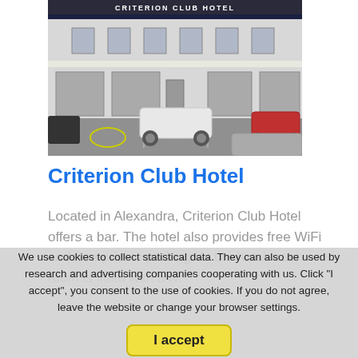[Figure (photo): Exterior photo of Criterion Club Hotel building showing the facade with hotel signage, parked cars in the foreground on a grey day]
Criterion Club Hotel
Located in Alexandra, Criterion Club Hotel offers a bar. The hotel also provides free WiFi and free private parking. At the hotel, each room is fitted with a tv.
We use cookies to collect statistical data. They can also be used by research and advertising companies cooperating with us. Click "I accept", you consent to the use of cookies. If you do not agree, leave the website or change your browser settings.
Address ... New Zealand